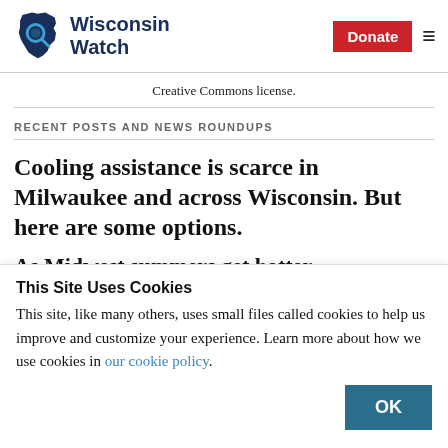Wisconsin Watch | Donate
Creative Commons license.
RECENT POSTS AND NEWS ROUNDUPS
Cooling assistance is scarce in Milwaukee and across Wisconsin. But here are some options.
As Midwest summers get hotter.
This Site Uses Cookies
This site, like many others, uses small files called cookies to help us improve and customize your experience. Learn more about how we use cookies in our cookie policy.